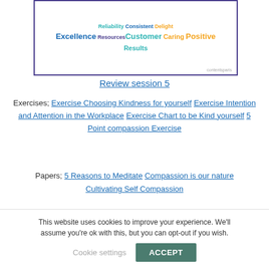[Figure (infographic): Word cloud with terms like Excellence, Customer, Results, Reliability, Consistent, Delight, Caring, Positive, Resources. Contentsparis logo at bottom right. Bordered in dark purple.]
Review session 5
Exercises; Exercise Choosing Kindness for yourself Exercise Intention and Attention in the Workplace Exercise Chart to be Kind yourself 5 Point compassion Exercise
Papers; 5 Reasons to Meditate Compassion is our nature Cultivating Self Compassion
[Figure (screenshot): Dark navy background with CAPTCHA widget showing 'I'm not a robot' checkbox and reCAPTCHA logo. Striped pattern at bottom. Scroll-to-top button on right.]
This website uses cookies to improve your experience. We'll assume you're ok with this, but you can opt-out if you wish.
Cookie settings  ACCEPT